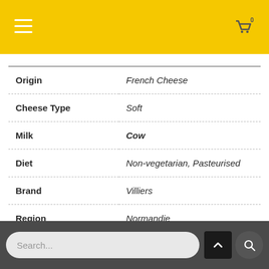Navigation bar with hamburger menu and cart icon (0 items)
d on Valentine's Day. And what better way to end a roma meal.
|  |  |
| --- | --- |
| Origin | French Cheese |
| Cheese Type | Soft |
| Milk | Cow |
| Diet | Non-vegetarian, Pasteurised |
| Brand | Villiers |
| Region | Normandie |
Search... [back to top button] [search button]